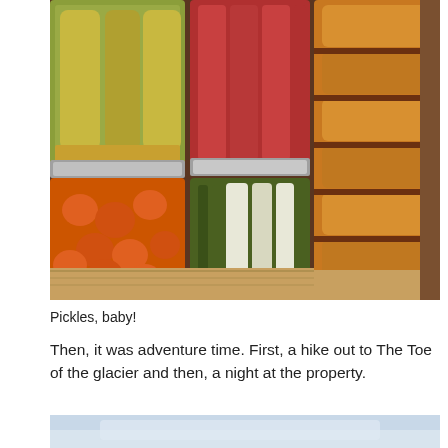[Figure (photo): Multiple glass mason jars filled with preserved/pickled vegetables including carrots, cucumbers, and other produce, arranged on a wooden shelf inside a wooden cabinet.]
Pickles, baby!
Then, it was adventure time. First, a hike out to The Toe of the glacier and then, a night at the property.
[Figure (photo): Partial view of a second photo at the bottom of the page, showing a light blue/grey outdoor scene, likely a glacier or snowy landscape.]